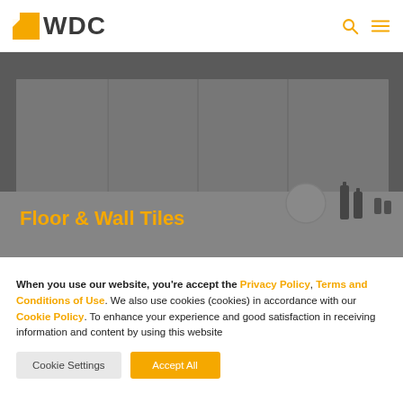WDC
[Figure (photo): Bathroom scene with decorative wall tiles in dark gray/silver tones. A shelf with a circular mirror, dark glass bottles and small decorative items are visible. The image has a dark overlay.]
Floor & Wall Tiles
When you use our website, you're accept the Privacy Policy, Terms and Conditions of Use. We also use cookies (cookies) in accordance with our Cookie Policy. To enhance your experience and good satisfaction in receiving information and content by using this website
Cookie Settings | Accept All